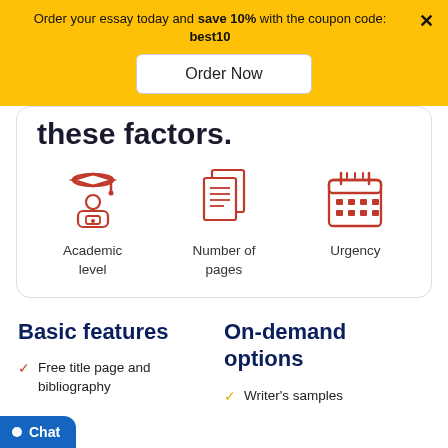Order your essay today and save 10% with the coupon code: best10
Order Now
these factors.
[Figure (illustration): Academic level icon: red graduation cap figure at a desk]
Academic level
[Figure (illustration): Number of pages icon: red stacked document pages]
Number of pages
[Figure (illustration): Urgency icon: red calendar]
Urgency
Basic features
On-demand options
Free title page and bibliography
Writer's samples